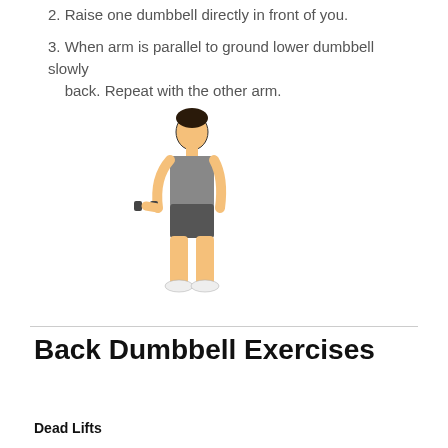2. Raise one dumbbell directly in front of you.
3. When arm is parallel to ground lower dumbbell slowly back. Repeat with the other arm.
[Figure (illustration): A person standing upright holding a dumbbell at their side, viewed from the side, wearing a gray tank top, gray shorts, and white shoes.]
Back Dumbbell Exercises
Dead Lifts